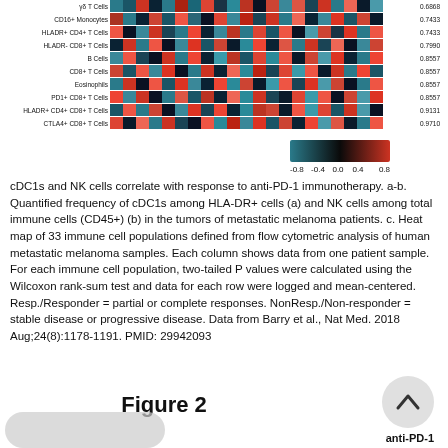[Figure (other): Partial heatmap showing immune cell populations (γδ T Cells, CD16+ Monocytes, HLADR+ CD4+ T Cells, HLADR- CD8+ T Cells, B Cells, CD8+ T Cells, Eosinophils, PD1+ CD8+ T Cells, HLADR+ CD4+ CD8+ T Cells, CTLA4+ CD8+ T Cells) with p-values on right side (0.6868, 0.7433, 0.7433, 0.7990, 0.8557, 0.8557, 0.8557, 0.8557, 0.9131, 0.9710) and a color scale bar from -0.8 to 0.8 (blue to red)]
cDC1s and NK cells correlate with response to anti-PD-1 immunotherapy. a-b. Quantified frequency of cDC1s among HLA-DR+ cells (a) and NK cells among total immune cells (CD45+) (b) in the tumors of metastatic melanoma patients. c. Heat map of 33 immune cell populations defined from flow cytometric analysis of human metastatic melanoma samples. Each column shows data from one patient sample. For each immune cell population, two-tailed P values were calculated using the Wilcoxon rank-sum test and data for each row were logged and mean-centered. Resp./Responder = partial or complete responses. NonResp./Non-responder = stable disease or progressive disease. Data from Barry et al., Nat Med. 2018 Aug;24(8):1178-1191. PMID: 29942093
Figure 2
anti-PD-1